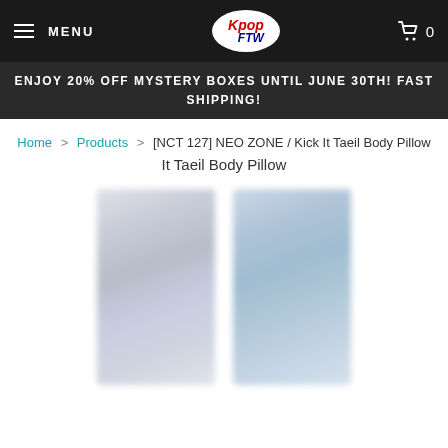MENU | KpopFTW Logo | Cart 0
ENJOY 20% OFF MYSTERY BOXES UNTIL JUNE 30TH! FAST SHIPPING!
Home > Products > [NCT 127] NEO ZONE / Kick It Taeil Body Pillow
[NCT 127] NEO ZONE / Kick It Taeil Body Pillow
[Figure (photo): Two body pillow product images side by side, blurred/low resolution. Left image shows a tall rectangular body pillow packaging. Right image shows a similar body pillow packaging with blue tones.]